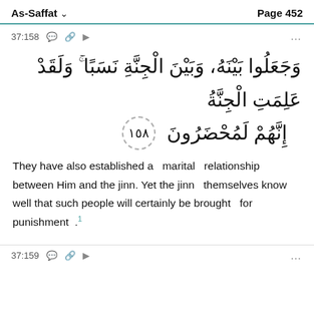As-Saffat   Page 452
37:158
وَجَعَلُوا بَيْنَهُ، وَبَيْنَ الْجِنَّةِ نَسَبًا ۚ وَلَقَد عَلِمَتِ الْجِنَّةُ إِنَّهُمْ لَمُحْضَرُونَ ۞ [158]
They have also established a marital relationship between Him and the jinn. Yet the jinn themselves know well that such people will certainly be brought for punishment .
37:159